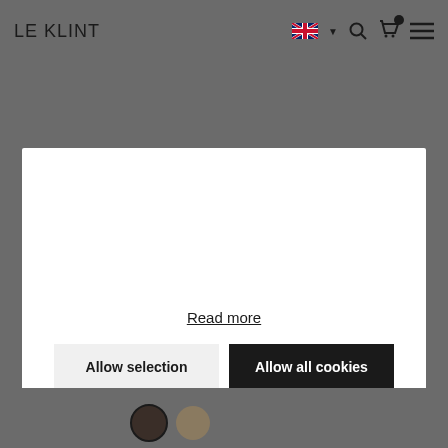LE KLINT
[Figure (screenshot): Cookie consent modal overlay on Le Klint website. Modal contains a 'Read more' link, 'Allow selection' and 'Allow all cookies' buttons, and checkboxes for Necessary, Preferences, Statistics, and Marketing.]
Read more
Allow selection
Allow all cookies
Necessary
Preferences
Statistics
Marketing